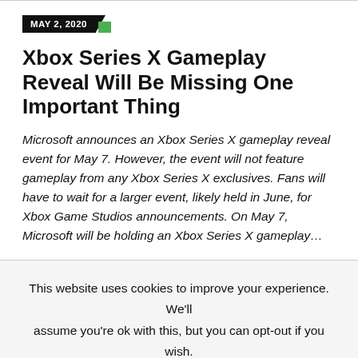MAY 2, 2020
Xbox Series X Gameplay Reveal Will Be Missing One Important Thing
Microsoft announces an Xbox Series X gameplay reveal event for May 7. However, the event will not feature gameplay from any Xbox Series X exclusives. Fans will have to wait for a larger event, likely held in June, for Xbox Game Studios announcements. On May 7, Microsoft will be holding an Xbox Series X gameplay…
This website uses cookies to improve your experience. We'll assume you're ok with this, but you can opt-out if you wish.
Accept   Read More